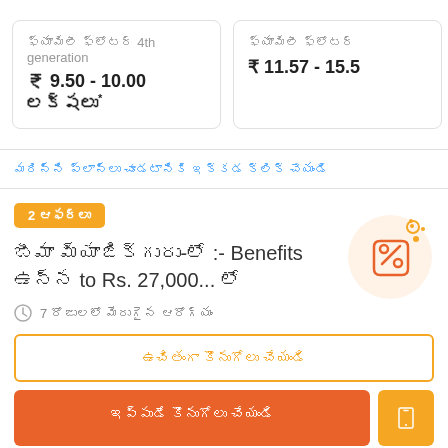ఫ్యామిలీ ఫ్లోటర్ 4th generation ₹ 9.50 - 10.00 లక్షలు*
ఫ్యామిలీ ఫ్లోటర్ ₹ 11.57 - 15.57...
మరిన్ని ప్లాన్లు చూడటానికి ఇక్కడ క్లిక్ చేయండి
2 ఆఫర్లు
బీమా మ్యాజిక్‌గురు-లో :- Benefits ఉన్న to Rs. 27,000... లో
7 రోజులలో మెరుగైన ఆరోగ్యం
ఉచితంగా కొనుగోలు చేయండి
ఇప్పుడే కొనుగోలు చేయండి